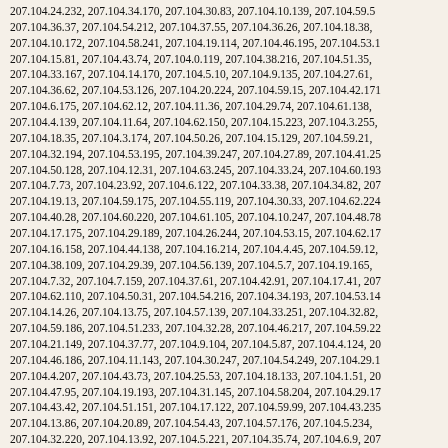207.104.24.232, 207.104.34.170, 207.104.30.83, 207.104.10.139, 207.104.59.55, 207.104.36.37, 207.104.54.212, 207.104.37.55, 207.104.36.26, 207.104.18.38, 207.104.10.172, 207.104.58.241, 207.104.19.114, 207.104.46.195, 207.104.53.1, 207.104.15.81, 207.104.43.74, 207.104.0.119, 207.104.38.216, 207.104.51.35, 207.104.33.167, 207.104.14.170, 207.104.5.10, 207.104.9.135, 207.104.27.61, 207.104.36.62, 207.104.53.126, 207.104.20.224, 207.104.59.15, 207.104.42.171, 207.104.6.175, 207.104.62.12, 207.104.11.36, 207.104.29.74, 207.104.61.138, 207.104.4.139, 207.104.11.64, 207.104.62.150, 207.104.15.223, 207.104.3.255, 207.104.18.35, 207.104.3.174, 207.104.50.26, 207.104.15.129, 207.104.59.21, 207.104.32.194, 207.104.53.195, 207.104.39.247, 207.104.27.89, 207.104.41.25, 207.104.50.128, 207.104.12.31, 207.104.63.245, 207.104.33.24, 207.104.60.193, 207.104.7.73, 207.104.23.92, 207.104.6.122, 207.104.33.38, 207.104.34.82, 207.104.19.13, 207.104.59.175, 207.104.55.119, 207.104.30.33, 207.104.62.224, 207.104.40.28, 207.104.60.220, 207.104.61.105, 207.104.10.247, 207.104.48.78, 207.104.17.175, 207.104.29.189, 207.104.26.244, 207.104.53.15, 207.104.62.17, 207.104.16.158, 207.104.44.138, 207.104.16.214, 207.104.4.45, 207.104.59.12, 207.104.38.109, 207.104.29.39, 207.104.56.139, 207.104.5.7, 207.104.19.165, 207.104.7.32, 207.104.7.159, 207.104.37.61, 207.104.42.91, 207.104.17.41, 207.104.62.110, 207.104.50.31, 207.104.54.216, 207.104.34.193, 207.104.53.14, 207.104.14.26, 207.104.13.75, 207.104.57.139, 207.104.33.251, 207.104.32.82, 207.104.59.186, 207.104.51.233, 207.104.32.28, 207.104.46.217, 207.104.59.22, 207.104.21.149, 207.104.37.77, 207.104.9.104, 207.104.5.87, 207.104.4.124, 207.104.46.186, 207.104.11.143, 207.104.30.247, 207.104.54.249, 207.104.29.1, 207.104.4.207, 207.104.43.73, 207.104.25.53, 207.104.18.133, 207.104.1.51, 207.104.47.95, 207.104.19.193, 207.104.31.145, 207.104.58.204, 207.104.29.17, 207.104.43.42, 207.104.51.151, 207.104.17.122, 207.104.59.99, 207.104.43.235, 207.104.13.86, 207.104.20.89, 207.104.54.43, 207.104.57.176, 207.104.5.234, 207.104.32.220, 207.104.13.92, 207.104.5.221, 207.104.35.74, 207.104.6.9, 207.104.58.140, 207.104.2.195, 207.104.8.114, 207.104.56.73, 207.104.30.152, 207.104.28.112, 207.104.49.252, 207.104.28.25, 207.104.13.73, 207.104.25.164, 207.104.14.125, 207.104.24.116, 207.104.50.89, 207.104.50.100, 207.104.18.97, 207.104.7.91, 207.104.37.48, 207.104.62.176, 207.104.24.6, 207.104.35.119, 207.104.42.202, 207.104.15.172, 207.104.14.167, 207.104.46.227, 207.104.17